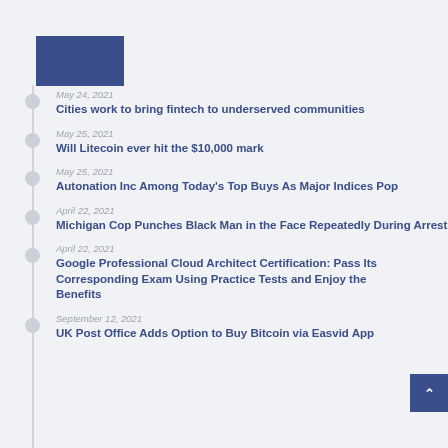[Figure (logo): Dark blue rectangle logo placeholder]
May 24, 2021
Cities work to bring fintech to underserved communities
May 25, 2021
Will Litecoin ever hit the $10,000 mark
May 25, 2021
Autonation Inc Among Today's Top Buys As Major Indices Pop
April 22, 2021
Michigan Cop Punches Black Man in the Face Repeatedly During Arrest
April 22, 2021
Google Professional Cloud Architect Certification: Pass Its Corresponding Exam Using Practice Tests and Enjoy the Benefits
September 12, 2021
UK Post Office Adds Option to Buy Bitcoin via Easvid App